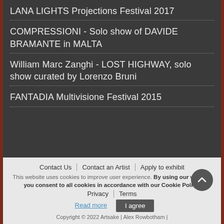LANA LIGHTS Projections Festival 2017
COMPRESSIONI - Solo show of DAVIDE BRAMANTE in MALTA
William Marc Zanghi - LOST HIGHWAY, solo show curated by Lorenzo Bruni
FANTADIA Multivisione Festival 2015
Contact Us | Contact an Artist | Apply to exhibit | Privacy | Terms
This website uses cookies to improve user experience. By using our website you consent to all cookies in accordance with our Cookie Policy.
Read more   I agree
Copyright © 2022 Artsake | Alex Rowbotham |